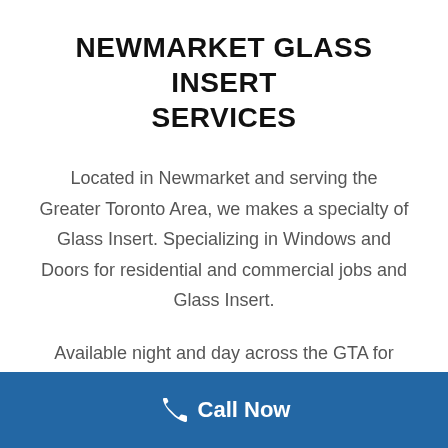NEWMARKET GLASS INSERT SERVICES
Located in Newmarket and serving the Greater Toronto Area, we makes a specialty of Glass Insert. Specializing in Windows and Doors for residential and commercial jobs and Glass Insert.
Available night and day across the GTA for your job, or emergency glass and door repairs. By appointment or on-call.
Call Now